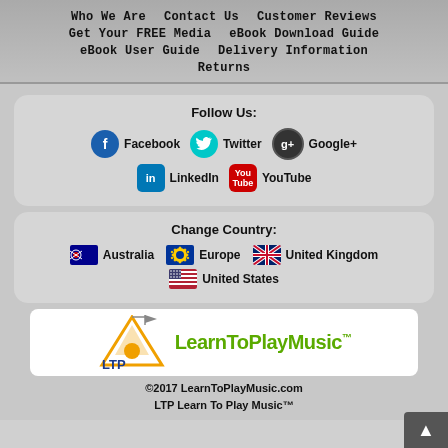Who We Are | Contact Us | Customer Reviews | Get Your FREE Media | eBook Download Guide | eBook User Guide | Delivery Information | Returns
Follow Us:
Facebook
Twitter
Google+
LinkedIn
YouTube
Change Country:
Australia
Europe
United Kingdom
United States
[Figure (logo): LearnToPlayMusic LTP logo with triangle/mountain graphic and green text]
©2017 LearnToPlayMusic.com LTP Learn To Play Music™